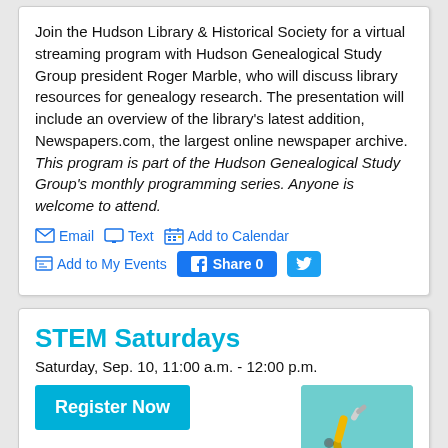Join the Hudson Library & Historical Society for a virtual streaming program with Hudson Genealogical Study Group president Roger Marble, who will discuss library resources for genealogy research. The presentation will include an overview of the library's latest addition, Newspapers.com, the largest online newspaper archive. This program is part of the Hudson Genealogical Study Group's monthly programming series. Anyone is welcome to attend.
Email  Text  Add to Calendar  Add to My Events  Share 0  [Twitter]
STEM Saturdays
Saturday, Sep. 10, 11:00 a.m. - 12:00 p.m.
Register Now
[Figure (illustration): Illustration of a robotic arm with colorful 3D letters spelling STEM on a teal/cyan background]
Kids in grades 3 to 5 are invited to explore STEM concepts and try hands-on experiments.